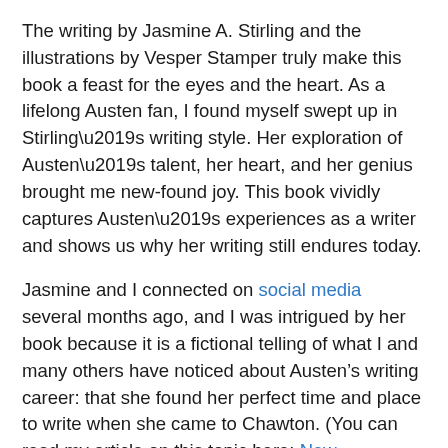The writing by Jasmine A. Stirling and the illustrations by Vesper Stamper truly make this book a feast for the eyes and the heart. As a lifelong Austen fan, I found myself swept up in Stirling’s writing style. Her exploration of Austen’s talent, her heart, and her genius brought me new-found joy. This book vividly captures Austen’s experiences as a writer and shows us why her writing still endures today.
Jasmine and I connected on social media several months ago, and I was intrigued by her book because it is a fictional telling of what I and many others have noticed about Austen’s writing career: that she found her perfect time and place to write when she came to Chawton. (You can read my article on this topic here: New Beginnings at Chawton Cottage.)